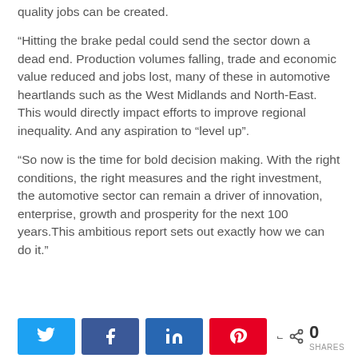quality jobs can be created.
“Hitting the brake pedal could send the sector down a dead end. Production volumes falling, trade and economic value reduced and jobs lost, many of these in automotive heartlands such as the West Midlands and North-East. This would directly impact efforts to improve regional inequality. And any aspiration to “level up”.
“So now is the time for bold decision making. With the right conditions, the right measures and the right investment, the automotive sector can remain a driver of innovation, enterprise, growth and prosperity for the next 100 years.This ambitious report sets out exactly how we can do it.”
[Figure (other): Social media share buttons: Twitter, Facebook, LinkedIn, Pinterest, and a share count showing 0 SHARES]